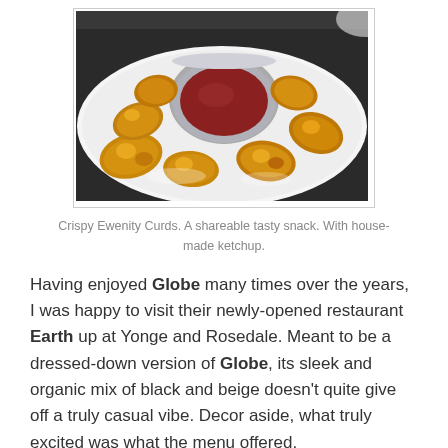[Figure (photo): Photo of crispy fried cheese curds arranged around a small round ramekin of red dipping sauce (ketchup) on a white plate, viewed from above.]
Crispy Ewenity Curds. A shareable tasty snack. With house-made ketchup.
Having enjoyed Globe many times over the years, I was happy to visit their newly-opened restaurant Earth up at Yonge and Rosedale. Meant to be a dressed-down version of Globe, its sleek and organic mix of black and beige doesn't quite give off a truly casual vibe. Decor aside, what truly excited was what the menu offered.